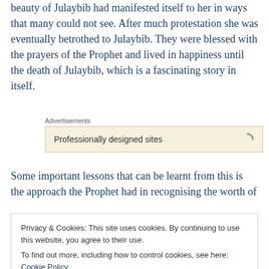beauty of Julaybib had manifested itself to her in ways that many could not see. After much protestation she was eventually betrothed to Julaybib. They were blessed with the prayers of the Prophet and lived in happiness until the death of Julaybib, which is a fascinating story in itself.
[Figure (other): Advertisements banner with text 'Professionally designed sites' and a loading spinner icon]
Some important lessons that can be learnt from this is the approach the Prophet had in recognising the worth of
Privacy & Cookies: This site uses cookies. By continuing to use this website, you agree to their use.
To find out more, including how to control cookies, see here: Cookie Policy
Close and accept
This simple example should encourage us all to reflect on